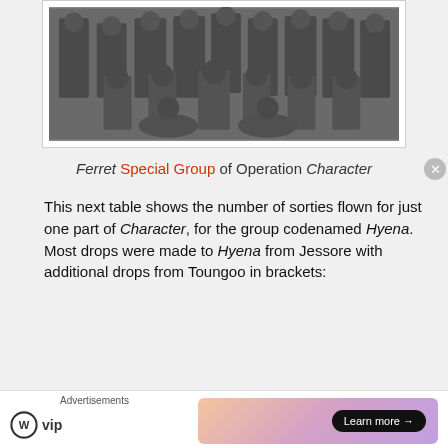[Figure (photo): Black and white group photo of military personnel in uniform, some seated and some standing]
Ferret Special Group of Operation Character
This next table shows the number of sorties flown for just one part of Character, for the group codenamed Hyena. Most drops were made to Hyena from Jessore with additional drops from Toungoo in brackets:
| Liberator | Dakota | Total |
| --- | --- | --- |